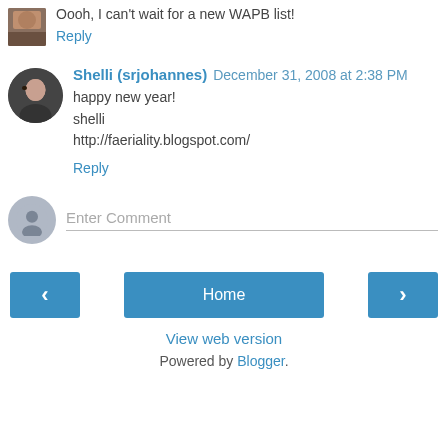[Figure (photo): Small avatar photo of a person]
Oooh, I can't wait for a new WAPB list!
Reply
[Figure (photo): Avatar photo of Shelli (srjohannes)]
Shelli (srjohannes)  December 31, 2008 at 2:38 PM
happy new year!
shelli
http://faeriality.blogspot.com/
Reply
Enter Comment
Home
View web version
Powered by Blogger.